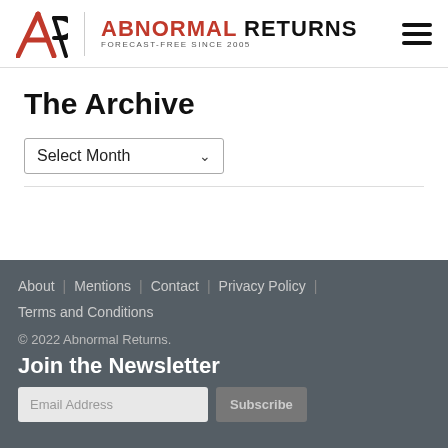ABNORMAL RETURNS — FORECAST-FREE SINCE 2005
The Archive
Select Month
About | Mentions | Contact | Privacy Policy | Terms and Conditions
© 2022 Abnormal Returns.
Join the Newsletter
Email Address  Subscribe